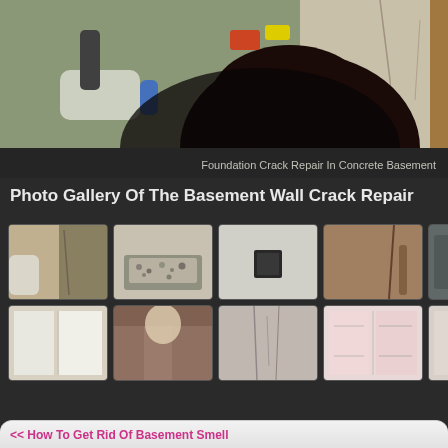[Figure (photo): A person working near a concrete wall with cracks, viewed from above/behind showing dark hair and working tools visible]
Foundation Crack Repair In Concrete Basement
Photo Gallery Of The Basement Wall Crack Repair
[Figure (photo): Grid of 8 thumbnail photos showing various stages of basement wall crack repair: workers applying sealant, concrete aggregate, wall with port injector, cracked wall with pipes, white panel installation, worker applying material, cracked concrete wall, pink insulation panels]
<< How To Get Rid Of Basement Smell